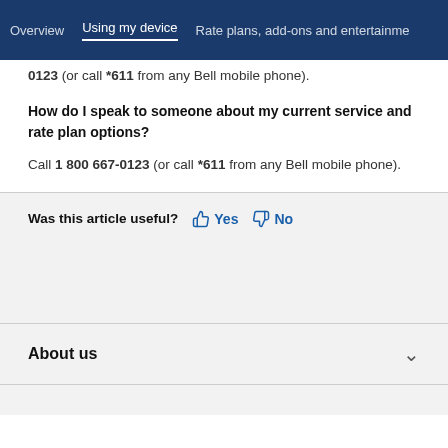Overview | Using my device | Rate plans, add-ons and entertainment
0123 (or call *611 from any Bell mobile phone).
How do I speak to someone about my current service and rate plan options?
Call 1 800 667-0123 (or call *611 from any Bell mobile phone).
Was this article useful? Yes No
About us